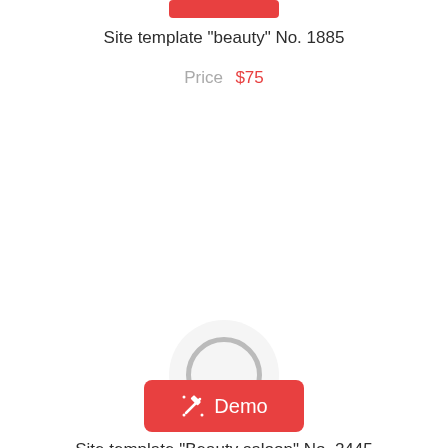[Figure (other): Red rounded rectangle button (partially cropped) at top center]
Site template "beauty" No. 1885
Price  $75
[Figure (other): Loading spinner circle — light grey circle background with grey ring inside]
[Figure (other): Red Demo button with magic wand icon and text 'Demo']
Site template "Beauty saloon" No. 2445